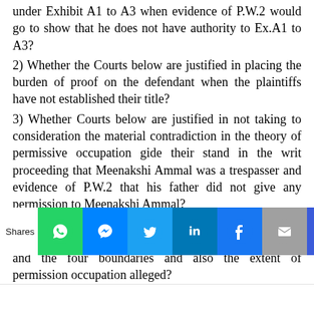under Exhibit A1 to A3 when evidence of P.W.2 would go to show that he does not have authority to Ex.A1 to A3?
2) Whether the Courts below are justified in placing the burden of proof on the defendant when the plaintiffs have not established their title?
3) Whether Courts below are justified in not taking to consideration the material contradiction in the theory of permissive occupation gide their stand in the writ proceeding that Meenakshi Ammal was a trespasser and evidence of P.W.2 that his father did not give any permission to Meenakshi Ammal?
4) Whether Courts below are proper in not taking into account the discrepancy in the extent of suit property and the four boundaries and also the extent of permission occupation alleged?
5) Whether the lower appellate Court is proper in not framing proper points for determination on the basis of grounds raised in the grounds of appeal which resulted in
[Figure (infographic): Social sharing toolbar with WhatsApp, Messenger, Twitter, LinkedIn, Facebook, Email, and Crown icons, with 'Shares' label on the left]